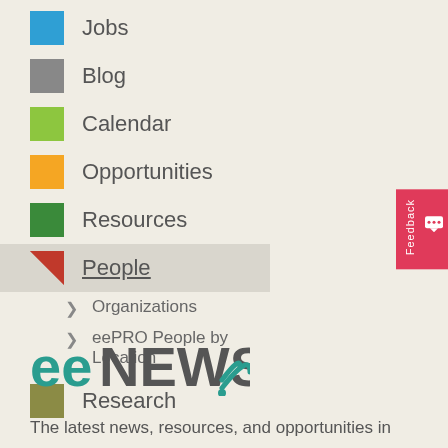Jobs
Blog
Calendar
Opportunities
Resources
People
Organizations
eePRO People by Location
Research
[Figure (logo): eeNEWS logo with RSS-style icon in teal and gray colors]
The latest news, resources, and opportunities in